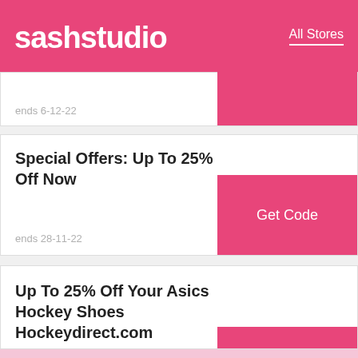sashstudio  All Stores
ends 6-12-22
Special Offers: Up To 25% Off Now
ends 28-11-22
Up To 25% Off Your Asics Hockey Shoes Hockeydirect.com
ends 29-10-22